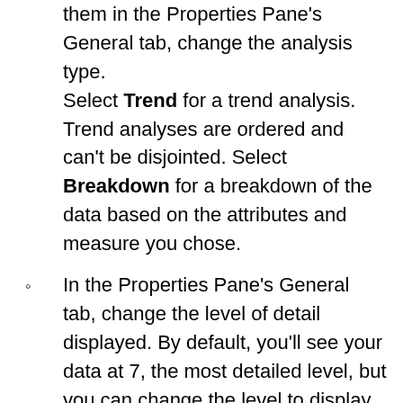them in the Properties Pane's General tab, change the analysis type. Select Trend for a trend analysis. Trend analyses are ordered and can't be disjointed. Select Breakdown for a breakdown of the data based on the attributes and measure you chose.
In the Properties Pane's General tab, change the level of detail displayed. By default, you'll see your data at 7, the most detailed level, but you can change the level to display the data in larger chunks.
In the Properties Pane's Values tab, you can use the Meaning of Up field to indicate if the attribute or measure value's definition is good or bad. For